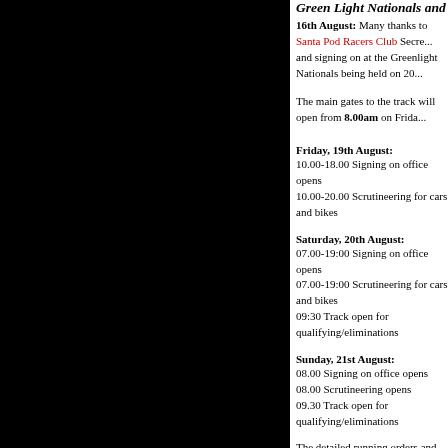Green Light Nationals and Euro Finals r...
16th August: Many thanks to Santa Pod Racers Club Secre... and signing on at the Greenlight Nationals being held on 20...
The main gates to the track will open from 8.00am on Frida...
Friday, 19th August:
10.00-18.00 Signing on office opens
10.00-20.00 Scrutineering for cars and bikes
Saturday, 20th August:
07.00-19:00 Signing on office opens
07.00-19:00 Scrutineering for cars and bikes
09:30 Track open for qualifying/eliminations
Sunday, 21st August:
08.00 Signing on office opens
08.00 Scrutineering opens
09.30 Track open for qualifying/eliminations
The detailed running orders and printable entry list can be se...
Ian also says "The closing date for the FIA/FIM-E European... we now have a much easier passage for Scandinavian Racer... includes all classes running at the European Finals." The late... link.
7.60 Heads Up at Greenlight.